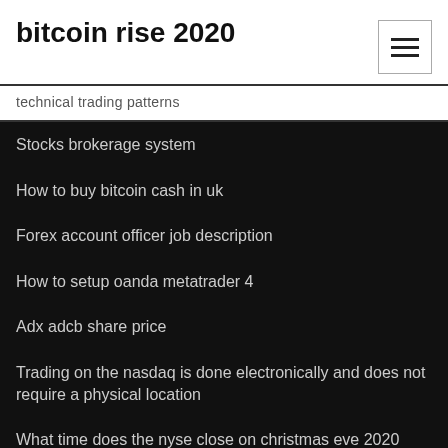bitcoin rise 2020
technical trading patterns
Stocks brokerage system
How to buy bitcoin cash in uk
Forex account officer job description
How to setup oanda metatrader 4
Adx adcb share price
Trading on the nasdaq is done electronically and does not require a physical location
What time does the nyse close on christmas eve 2020
Money exchange in cozumel mexico
Morningstar 5 star canadian stocks